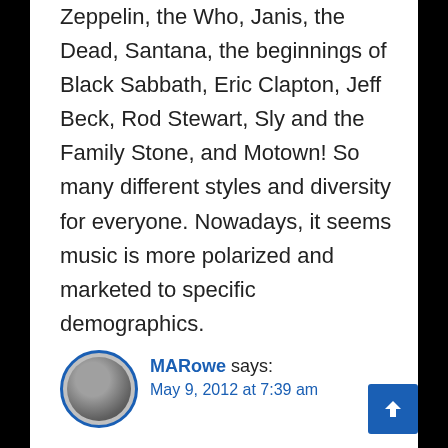Zeppelin, the Who, Janis, the Dead, Santana, the beginnings of Black Sabbath, Eric Clapton, Jeff Beck, Rod Stewart, Sly and the Family Stone, and Motown! So many different styles and diversity for everyone. Nowadays, it seems music is more polarized and marketed to specific demographics.
[Figure (photo): Circular avatar photo of user MARowe with blue border]
MARowe says:
May 9, 2012 at 7:39 am
[Figure (other): Blue scroll-to-top button with upward arrow icon]